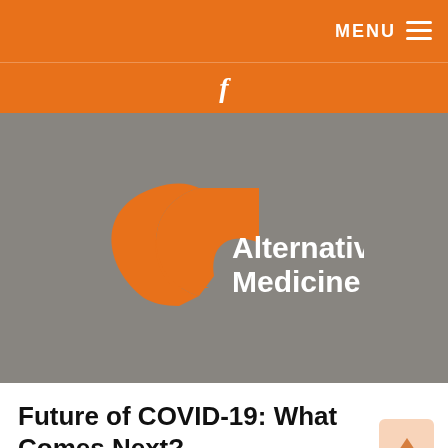MENU ☰
[Figure (logo): Facebook icon (f) in white on orange background, used as social media navigation bar]
[Figure (logo): Alternative Medicine logo: orange stylized bird/leaf shape with white text 'Alternative Medicine' on grey background]
Future of COVID-19: What Comes Next?